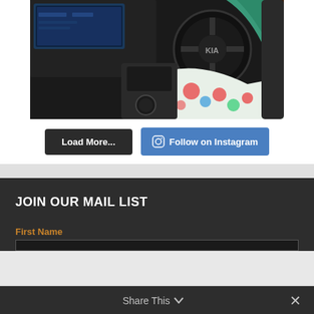[Figure (photo): Woman in teal sweater with floral skirt driving a Kia vehicle, shown from the driver's side with dashboard and center console visible]
Load More...
Follow on Instagram
JOIN OUR MAIL LIST
First Name
Share This